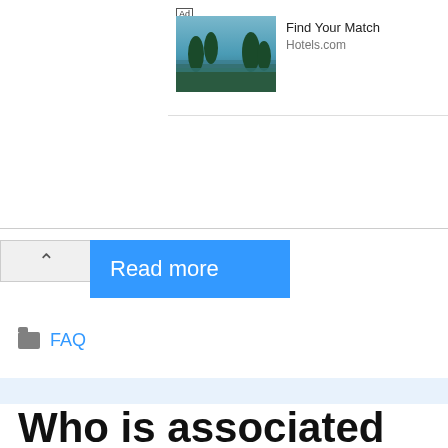[Figure (screenshot): Advertisement banner from Hotels.com with text 'Find Your Match' and a scenic photo of a waterfront with trees]
Read more
FAQ
Who is associated with the theory of operant conditioning?